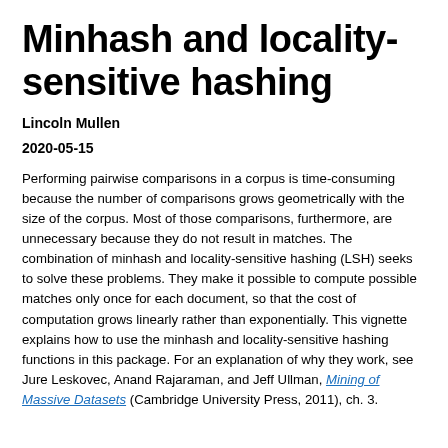Minhash and locality-sensitive hashing
Lincoln Mullen
2020-05-15
Performing pairwise comparisons in a corpus is time-consuming because the number of comparisons grows geometrically with the size of the corpus. Most of those comparisons, furthermore, are unnecessary because they do not result in matches. The combination of minhash and locality-sensitive hashing (LSH) seeks to solve these problems. They make it possible to compute possible matches only once for each document, so that the cost of computation grows linearly rather than exponentially. This vignette explains how to use the minhash and locality-sensitive hashing functions in this package. For an explanation of why they work, see Jure Leskovec, Anand Rajaraman, and Jeff Ullman, Mining of Massive Datasets (Cambridge University Press, 2011), ch. 3.